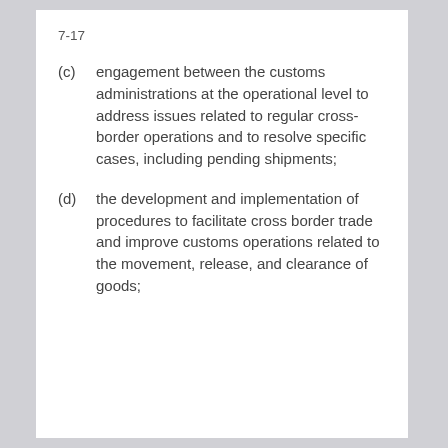7-17
(c)      engagement between the customs administrations at the operational level to address issues related to regular cross-border operations and to resolve specific cases, including pending shipments;
(d)      the development and implementation of procedures to facilitate cross border trade and improve customs operations related to the movement, release, and clearance of goods;